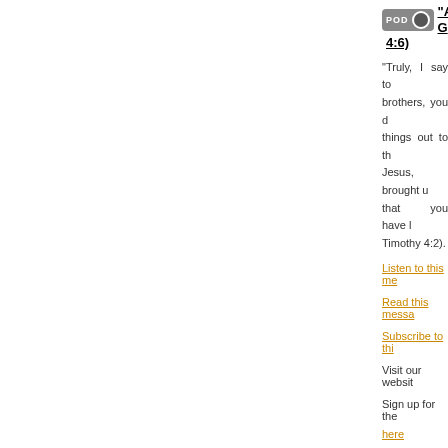"A G... 4:6)
"Truly, I say to... brothers, you d... things out to th... Jesus, brought u... that you have ... Timothy 4:2).
Listen to this me...
Read this messa...
Subscribe to thi...
Visit our websit...
Sign up for the...
here
[Figure (other): Green Make a Donation button]
encouragement...